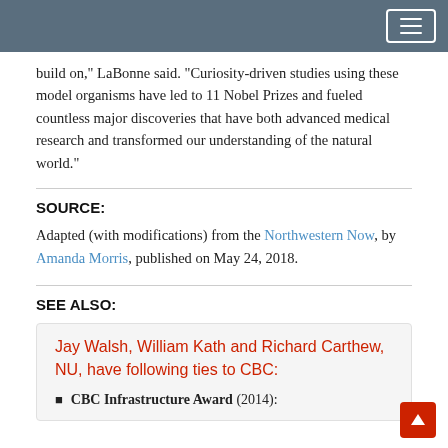build on,” LaBonne said. “Curiosity-driven studies using these model organisms have led to 11 Nobel Prizes and fueled countless major discoveries that have both advanced medical research and transformed our understanding of the natural world.”
SOURCE:
Adapted (with modifications) from the Northwestern Now, by Amanda Morris, published on May 24, 2018.
SEE ALSO:
Jay Walsh, William Kath and Richard Carthew, NU, have following ties to CBC:
CBC Infrastructure Award (2014):